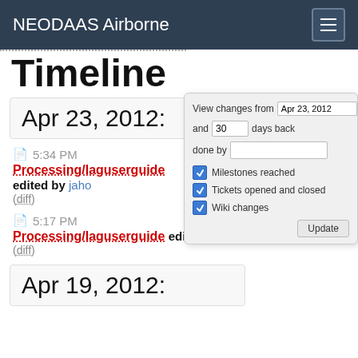NEODAAS Airborne
Timeline
Apr 23, 2012:
5:34 PM
Processing/laguserguide edited by jaho
(diff)
View changes from Apr 23, 2012 and 30 days back done by
Milestones reached
Tickets opened and closed
Wiki changes
Update
5:17 PM
Processing/laguserguide edited by jaho
(diff)
Apr 19, 2012: